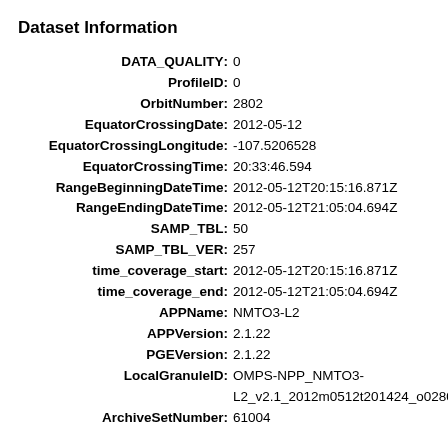Dataset Information
DATA_QUALITY: 0
ProfileID: 0
OrbitNumber: 2802
EquatorCrossingDate: 2012-05-12
EquatorCrossingLongitude: -107.5206528
EquatorCrossingTime: 20:33:46.594
RangeBeginningDateTime: 2012-05-12T20:15:16.871Z
RangeEndingDateTime: 2012-05-12T21:05:04.694Z
SAMP_TBL: 50
SAMP_TBL_VER: 257
time_coverage_start: 2012-05-12T20:15:16.871Z
time_coverage_end: 2012-05-12T21:05:04.694Z
APPName: NMTO3-L2
APPVersion: 2.1.22
PGEVersion: 2.1.22
LocalGranuleID: OMPS-NPP_NMTO3-L2_v2.1_2012m0512t201424_o02802
ArchiveSetNumber: 61004